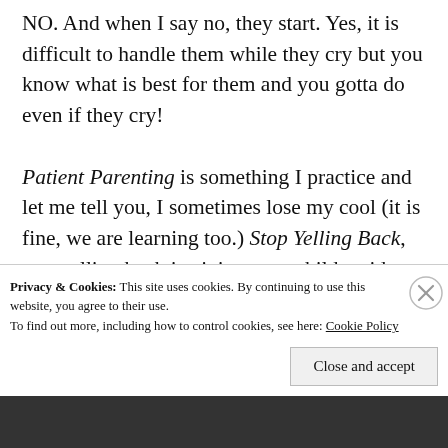NO. And when I say no, they start. Yes, it is difficult to handle them while they cry but you know what is best for them and you gotta do even if they cry!

Patient Parenting is something I practice and let me tell you, I sometimes lose my cool (it is fine, we are learning too.) Stop Yelling Back, you yelling back is giving your child an idea to give back answers to you! And this brings us to Ignore when we ignore their tantrums they would know that this trick won't work they would keep quiet. Laugh, when you start laughing in front of your kid for no reason they would
Privacy & Cookies: This site uses cookies. By continuing to use this website, you agree to their use.
To find out more, including how to control cookies, see here: Cookie Policy
Close and accept